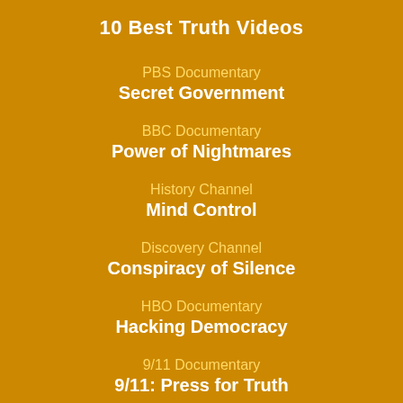10 Best Truth Videos
PBS Documentary
Secret Government
BBC Documentary
Power of Nightmares
History Channel
Mind Control
Discovery Channel
Conspiracy of Silence
HBO Documentary
Hacking Democracy
9/11 Documentary
9/11: Press for Truth